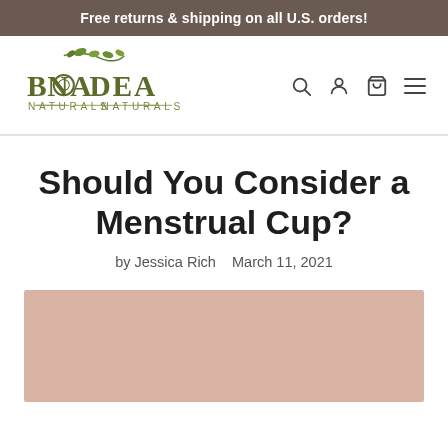Free returns & shipping on all U.S. orders!
[Figure (logo): Bona Dea Naturals logo with botanical leaf decoration above text, navigation icons (search, account, cart, menu) to the right]
Should You Consider a Menstrual Cup?
by Jessica Rich   March 11, 2021
[Figure (photo): A blush/dusty rose colored image placeholder, partially visible at the bottom of the page]